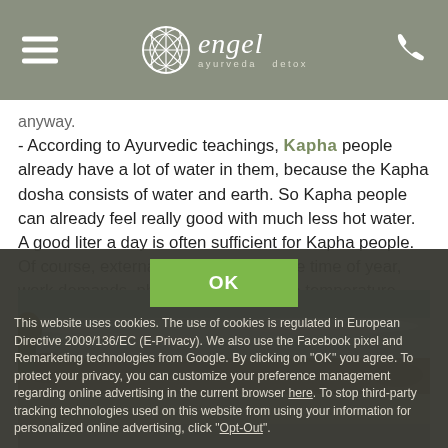engel ayurveda detox
anyway.
- According to Ayurvedic teachings, Kapha people already have a lot of water in them, because the Kapha dosha consists of water and earth. So Kapha people can already feel really good with much less hot water. A good liter a day is often sufficient for Kapha people.
Of course, external factors such as the time of year, work demands, physical work, outside temperature, and stress also play a major role. Age also determines the optimal amount of water.
[Figure (photo): Photograph of flowing water rapids over rocky terrain, viewed from a low angle with white water in the background.]
OK
This website uses cookies. The use of cookies is regulated in European Directive 2009/136/EC (E-Privacy). We also use the Facebook pixel and Remarketing technologies from Google. By clicking on "OK" you agree. To protect your privacy, you can customize your preference management regarding online advertising in the current browser here. To stop third-party tracking technologies used on this website from using your information for personalized online advertising, click "Opt-Out".